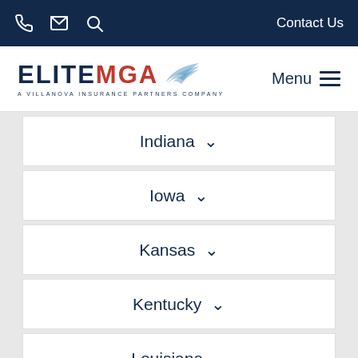Elite MGA — A Villanova Insurance Partners Company | Contact Us
[Figure (logo): Elite MGA logo with wing graphic and tagline 'A Villanova Insurance Partners Company']
Indiana
Iowa
Kansas
Kentucky
Louisiana
Maine